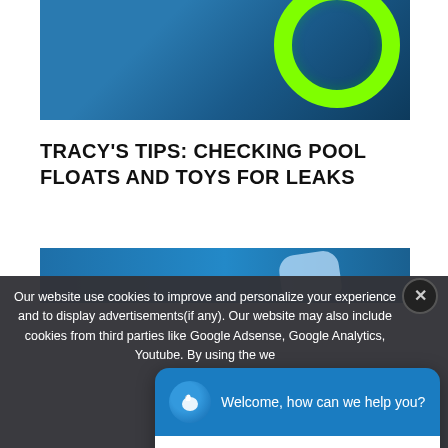[Figure (photo): Top portion of a pool float/toy image — blue water background with green inflatable ring in upper right corner]
TRACY'S TIPS: CHECKING POOL FLOATS AND TOYS FOR LEAKS
[Figure (photo): Partial view of a blue pool with a white/light-colored float object, partially obscured by cookie consent overlay]
Our website use cookies to improve and personalize your experience and to display advertisements(if any). Our website may also include cookies from third parties like Google Adsense, Google Analytics, Youtube. By using the website...
[Figure (screenshot): Chat widget popup with swan logo, blue header reading 'Welcome, how can we help you?' and white input area with placeholder 'Write your message...']